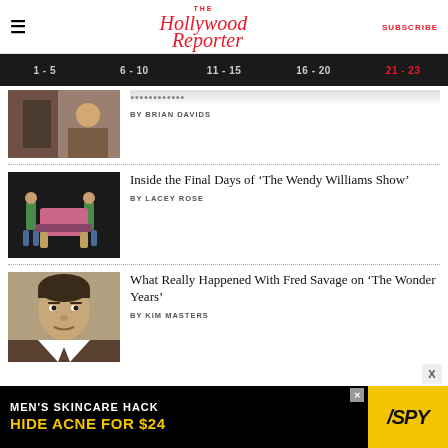The Hollywood Reporter | SUBSCRIBE
1 - 5  6 - 10  11 - 15  16 - 20  21 - 23
BY BRIAN DAVIDS
Inside the Final Days of ‘The Wendy Williams Show’
BY LACEY ROSE
What Really Happened With Fred Savage on ‘The Wonder Years’
BY KIM MASTERS
MEN’S SKINCARE HACK HIDE ACNE FOR $24 | SPY